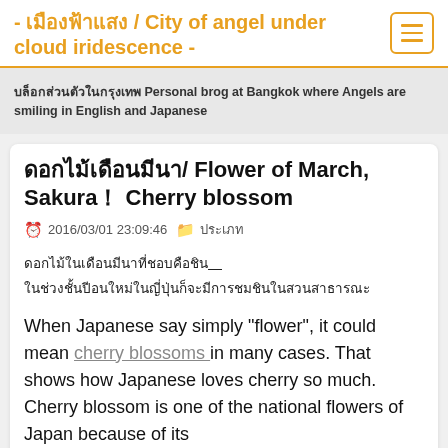- เมืองฟ้าแสง / City of angel under cloud iridescence -
บล็อกส่วนตัวในกรุงเทพ Personal brog at Bangkok where Angels are smiling in English and Japanese
ดอกไม้เดือนมีนา/ Flower of March, Sakura！ Cherry blossom
2016/03/01 23:09:46
ประเภท
ดอกไม้ในเดือนมีนาที่ชอบคือชิน
ในช่วงชั้นปีอนใหม่ในญี่ปุ่นก็จะมีการชมชินในสวนสาธารณะ
When Japanese say simply “flower”, it could mean cherry blossoms in many cases. That shows how Japanese loves cherry so much. Cherry blossom is one of the national flowers of Japan because of its